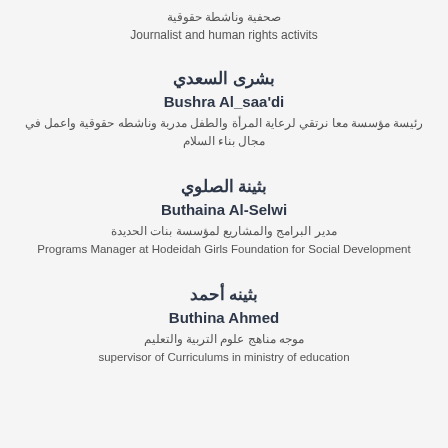صحفية وناشطة حقوقية
Journalist and human rights activits
بشرى السعدي
Bushra Al_saa'di
رئيسة مؤسسة معا نرتقي لرعاية المرأة والطفل مدربة وناشطه حقوقية واعمل في مجال بناء السلام
بثينة الصلوي
Buthaina Al-Selwi
مدير البرامج والمشاريع لمؤسسة بنات الحديدة
Programs Manager at Hodeidah Girls Foundation for Social Development
بثينه أحمد
Buthina Ahmed
موجه مناهج علوم التربية والتعليم
supervisor of Curriculums in ministry of education